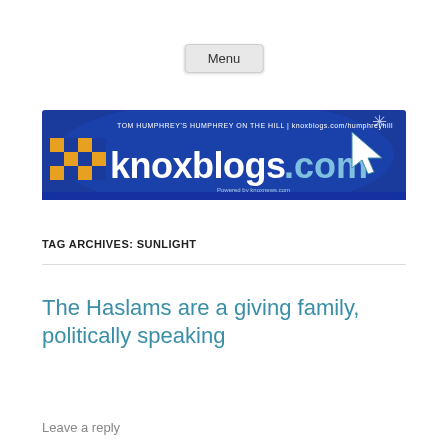Menu
[Figure (logo): Knoxblogs.com banner: TOM HUMPHREY'S HUMPHREY ON THE HILL | knoxblogs.com/humphreyhill, blue background with checkered logo and cursor arrow icon]
TAG ARCHIVES: SUNLIGHT
The Haslams are a giving family, politically speaking
Leave a reply